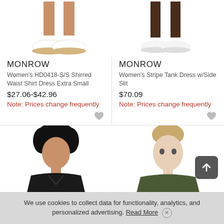[Figure (photo): Bottom portion of a model's legs wearing white sneakers, left product]
[Figure (photo): Bottom portion of a model's legs wearing white sneakers, right product]
MONROW
Women's HD0418-S/S Shirred Waist Shirt Dress Extra Small
$27.06-$42.96
Note: Prices change frequently
MONROW
Women's Stripe Tank Dress w/Side Slit
$70.09
Note: Prices change frequently
[Figure (photo): Model wearing a black v-neck short sleeve dress, upper body]
[Figure (photo): Model wearing a dark olive/green top, upper body and face]
We use cookies to collect data for functionality, analytics, and personalized advertising. Read More